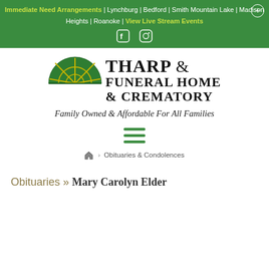Immediate Need Arrangements | Lynchburg | Bedford | Smith Mountain Lake | Madison Heights | Roanoke | View Live Stream Events
[Figure (logo): Tharp Funeral Home & Crematory logo with green semicircle dome and gold dividers]
Family Owned & Affordable For All Families
[Figure (other): Hamburger menu icon (three horizontal green lines)]
Obituaries & Condolences (breadcrumb navigation with home icon and chevron)
Obituaries » Mary Carolyn Elder